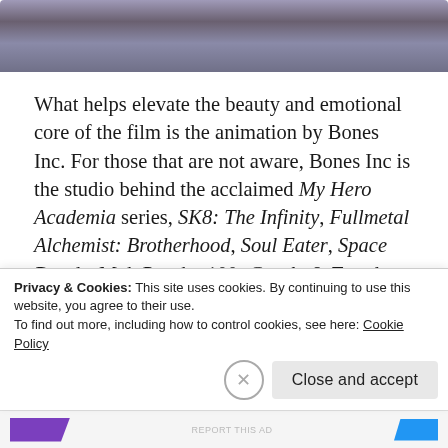[Figure (illustration): Partial view of an anime character image, cropped at top of page, showing animated figure with dark hair against grey/blue background]
What helps elevate the beauty and emotional core of the film is the animation by Bones Inc. For those that are not aware, Bones Inc is the studio behind the acclaimed My Hero Academia series, SK8: The Infinity, Fullmetal Alchemist: Brotherhood, Soul Eater, Space Dandy, Mob Psycho 100, Carole & Tuesday, and the recently released Godzilla: Singular Point and The Case Study of Vanitas. They also have done work on
Privacy & Cookies: This site uses cookies. By continuing to use this website, you agree to their use.
To find out more, including how to control cookies, see here: Cookie Policy
Close and accept